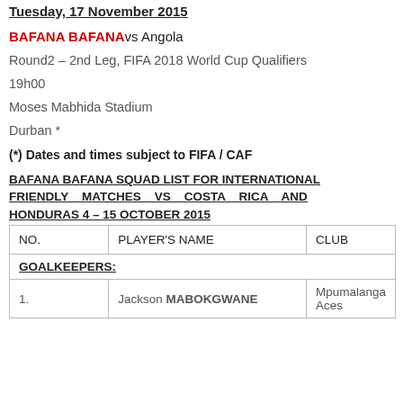Tuesday, 17 November 2015
BAFANA BAFANA vs Angola
Round2 – 2nd Leg, FIFA 2018 World Cup Qualifiers
19h00
Moses Mabhida Stadium
Durban *
(*) Dates and times subject to FIFA / CAF
BAFANA BAFANA SQUAD LIST FOR INTERNATIONAL FRIENDLY MATCHES VS COSTA RICA AND HONDURAS 4 – 15 OCTOBER 2015
| NO. | PLAYER'S NAME | CLUB |
| --- | --- | --- |
| GOALKEEPERS: |  |  |
| 1. | Jackson MABOKGWANE | Mpumalanga Aces |